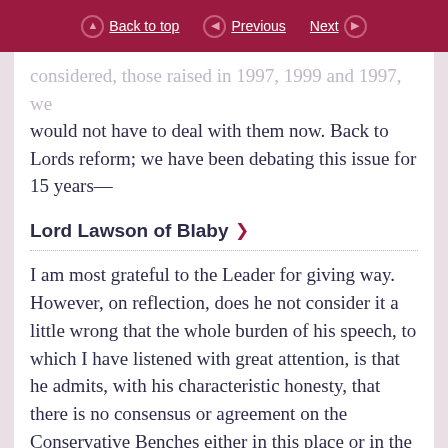Back to top | Previous | Next
considered, those raised in 1997, 1999 and 1997, we would not have to deal with them now. Back to Lords reform; we have been debating this issue for 15 years—
Lord Lawson of Blaby
I am most grateful to the Leader for giving way. However, on reflection, does he not consider it a little wrong that the whole burden of his speech, to which I have listened with great attention, is that he admits, with his characteristic honesty, that there is no consensus or agreement on the Conservative Benches either in this place or in the other place, and that therefore it is the duty of the Labour Party —the Opposition—to rescue the Government from